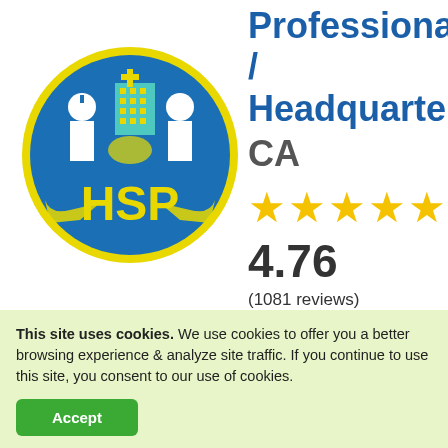[Figure (logo): HSP Healthcare Staffing Professionals circular logo with blue background, yellow HSP letters, nurse and doctor figures, and yellow ring border]
Professional / Headquarte CA
4.76
(1081 reviews)
97% highly recommend
Healthcare Staffing
This site uses cookies. We use cookies to offer you a better browsing experience & analyze site traffic. If you continue to use this site, you consent to our use of cookies.